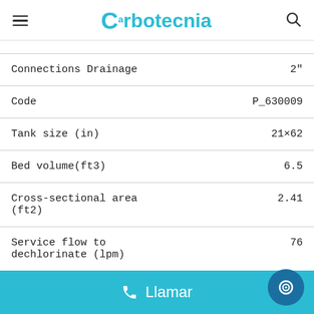Carbotecnia
| Connections Drainage | 2" |
| Code | P_630009 |
| Tank size (in) | 21×62 |
| Bed volume(ft3) | 6.5 |
| Cross-sectional area (ft2) | 2.41 |
| Service flow to dechlorinate (lpm) | 76 |
| Service flow to dechlorinate (gpm) | 20 |
Llamar